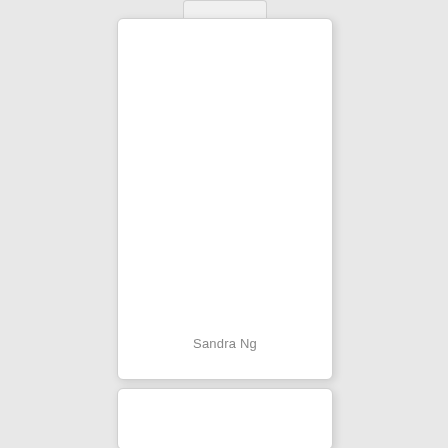[Figure (other): A white document card with a tab notch at the top, resembling a file folder card or ID badge holder. The card is white with rounded corners and a subtle shadow on a light grey background.]
Sandra Ng